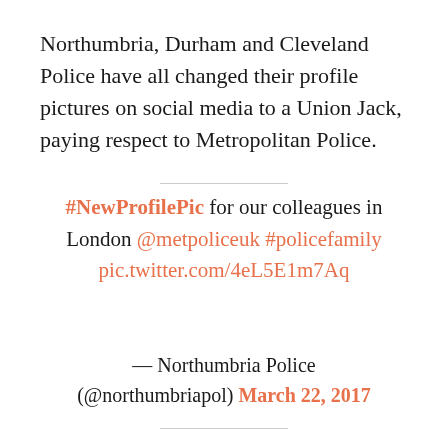Northumbria, Durham and Cleveland Police have all changed their profile pictures on social media to a Union Jack, paying respect to Metropolitan Police.
#NewProfilePic for our colleagues in London @metpoliceuk #policefamily pic.twitter.com/4eL5E1m7Aq — Northumbria Police (@northumbriapol) March 22, 2017